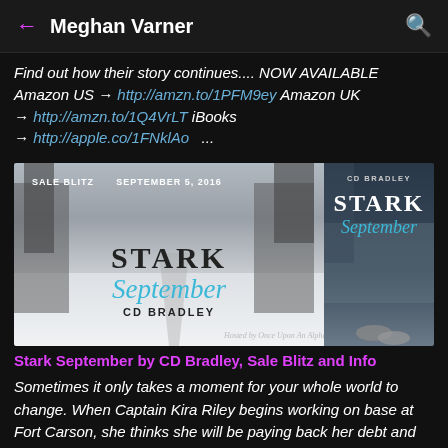Meghan Varner
Find out how their story continues.... NOW AVAILABLE Amazon US → http://amzn.to/1PFM9ey Amazon UK → http://amzn.to/1Q4VrLT iBooks → http://apple.co/1FNklAo ...
[Figure (illustration): Book sale blitz banner for 'Stark September' by CD Bradley, September 5, 2016. Banner shows snowy winter road scene with the book title and a book cover thumbnail on the right panel. Hosted by Once Upon An Alpha.]
Stark September by CD Bradley, Sale Blitz and Info
Sometimes it only takes a moment for your whole world to change. When Captain Kira Riley begins working on base at Fort Carson, she thinks she will be paying back her debt and escape her past. However just as she tries to focus on the mission...